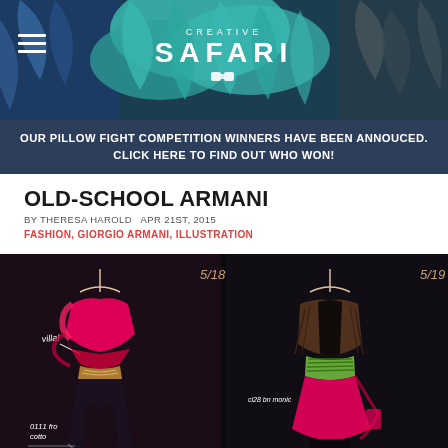[Figure (screenshot): Creative Safari website header banner with teal/blue illustrated jungle leaves and foliage, hamburger menu icon on left, binoculars icon center, and 'CREATIVE SAFARI' text in white.]
OUR PILLOW FIGHT COMPETITION WINNERS HAVE BEEN ANNOUCED. CLICK HERE TO FIND OUT WHO WON!
OLD-SCHOOL ARMANI
BY THERESA HAROLD  APR 21ST, 2015
FASHION, GIORGIO ARMANI, ILLUSTRATION
[Figure (illustration): Two fashion illustration sketches on dark/black background showing figures wearing Armani designs. Left sketch labeled '5/18' with hot pink/fuchsia top and handwritten notes 'villa', '0111 fno cotto', 'gonin', 'Pniefpeio'. Right sketch labeled '5/19' with striped green belt and fuchsia skirt with handwritten notes 'ci28 bn monic', 'gonin 054'.]